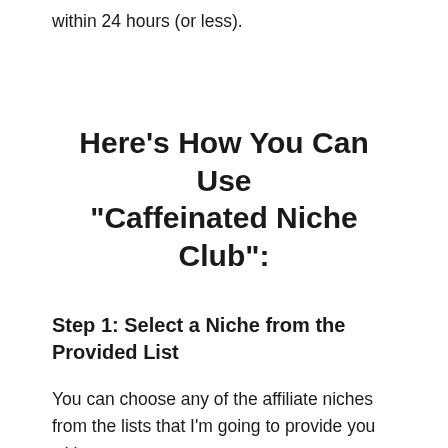within 24 hours (or less).
Here's How You Can Use "Caffeinated Niche Club":
Step 1: Select a Niche from the Provided List
You can choose any of the affiliate niches from the lists that I'm going to provide you with.